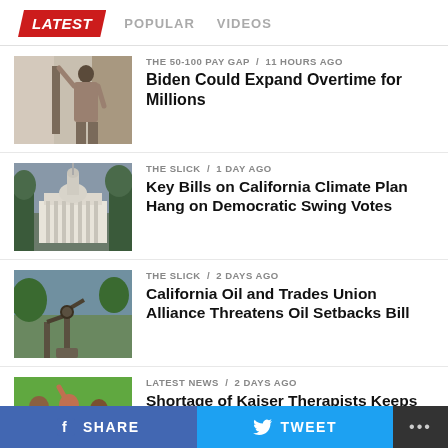LATEST  POPULAR  VIDEOS
[Figure (photo): Woman reaching up to shelves indoors]
THE 50-100 PAY GAP / 11 hours ago
Biden Could Expand Overtime for Millions
[Figure (photo): California state capitol building]
THE SLICK / 1 day ago
Key Bills on California Climate Plan Hang on Democratic Swing Votes
[Figure (photo): Oil pump jack with trees]
THE SLICK / 2 days ago
California Oil and Trades Union Alliance Threatens Oil Setbacks Bill
[Figure (photo): People in red shirts at a rally]
LATEST NEWS / 2 days ago
Shortage of Kaiser Therapists Keeps Children Waiting
SHARE  TWEET  ...